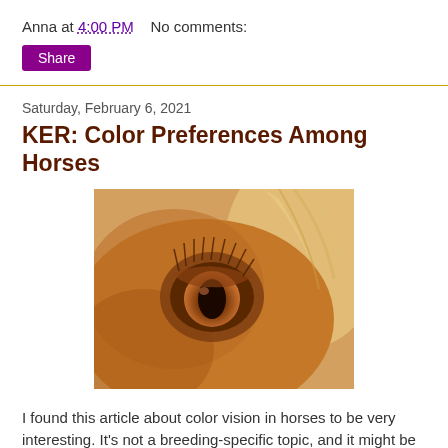Anna at 4:00 PM    No comments:
Share
Saturday, February 6, 2021
KER: Color Preferences Among Horses
[Figure (photo): Close-up of a chestnut horse's eye with visible eyelashes and mane, warm orange-brown tones]
I found this article about color vision in horses to be very interesting. It's not a breeding-specific topic, and it might be of interest to breeders among others. It looks at whether